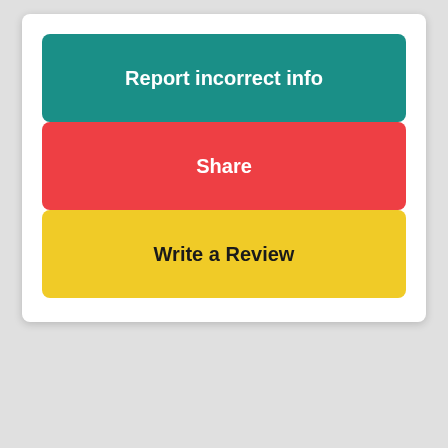Report incorrect info
Share
Write a Review